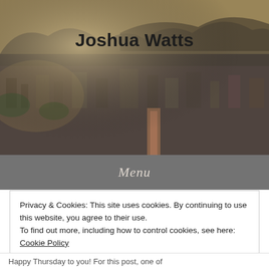[Figure (photo): Aerial cityscape photograph showing a dense urban area with mountains in the background, warm tones with haze, serving as a blog header background image.]
Joshua Watts
Menu
Privacy & Cookies: This site uses cookies. By continuing to use this website, you agree to their use.
To find out more, including how to control cookies, see here: Cookie Policy
Close and accept
Happy Thursday to you! For this post, one of